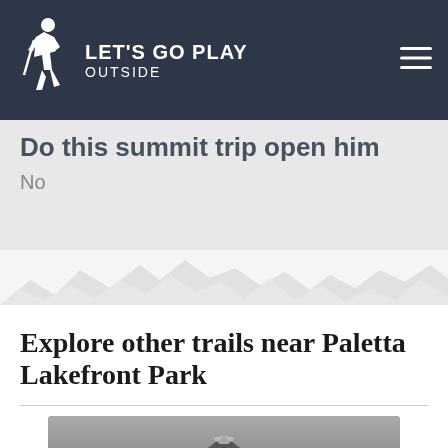LET'S GO PLAY OUTSIDE
No
[Figure (illustration): Decorative mountain silhouette strip divider]
Explore other trails near Paletta Lakefront Park
[Figure (photo): Grayscale photo of a mountain peak, partially visible]